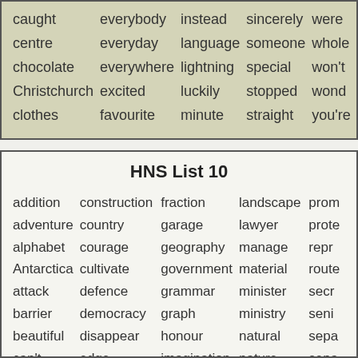| caught | everybody | instead | sincerely | were |
| centre | everyday | language | someone | whole |
| chocolate | everywhere | lightning | special | won't |
| Christchurch | excited | luckily | stopped | wonde |
| clothes | favourite | minute | straight | you're |
HNS List 10
| addition | construction | fraction | landscape | prom |
| adventure | country | garage | lawyer | prote |
| alphabet | courage | geography | manage | repr |
| Antarctica | cultivate | government | material | route |
| attack | defence | grammar | minister | secr |
| barrier | democracy | graph | ministry | seni |
| beautiful | disappear | honour | natural | sepa |
| can't | edge | imagination | nature | sepa |
| capital | education | imagine | neighbour | stom |
| central | election | instruction | paragraph | subt |
| climate | encourage | journey | parliament | tech |
| compare | enrichment | juice | passenger | tech |
| compete | environment | junior | path | vege |